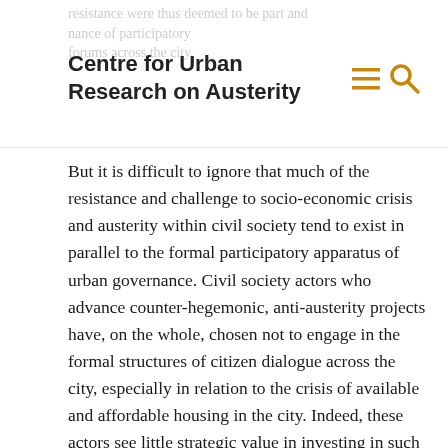Centre for Urban Research on Austerity
But it is difficult to ignore that much of the resistance and challenge to socio-economic crisis and austerity within civil society tend to exist in parallel to the formal participatory apparatus of urban governance. Civil society actors who advance counter-hegemonic, anti-austerity projects have, on the whole, chosen not to engage in the formal structures of citizen dialogue across the city, especially in relation to the crisis of available and affordable housing in the city. Indeed, these actors see little strategic value in investing in such arenas: ‘Because we have a very militant position, they do not want to see us everywhere. There is … a roadblock… We